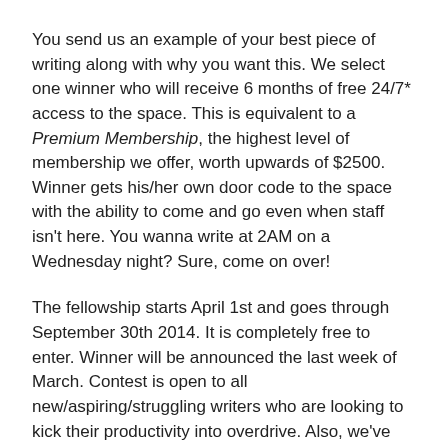You send us an example of your best piece of writing along with why you want this. We select one winner who will receive 6 months of free 24/7* access to the space. This is equivalent to a Premium Membership, the highest level of membership we offer, worth upwards of $2500. Winner gets his/her own door code to the space with the ability to come and go even when staff isn't here. You wanna write at 2AM on a Wednesday night? Sure, come on over!
The fellowship starts April 1st and goes through September 30th 2014. It is completely free to enter. Winner will be announced the last week of March. Contest is open to all new/aspiring/struggling writers who are looking to kick their productivity into overdrive. Also, we've just tapped some of our rockstar members to help us judge the submissions. Check out who will be reading your work here.